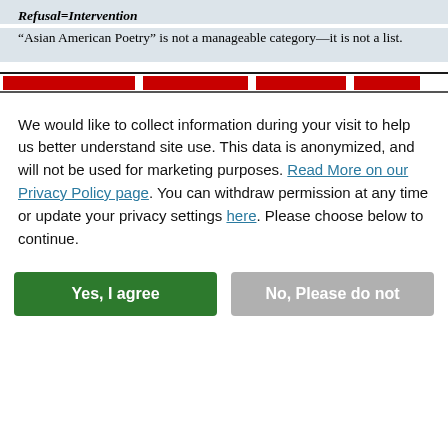Refusal=Intervention
“Asian American Poetry” is not a manageable category—it is not a list.
[Figure (other): Website navigation bar with red and black stripes and segmented red blocks]
We would like to collect information during your visit to help us better understand site use. This data is anonymized, and will not be used for marketing purposes. Read More on our Privacy Policy page. You can withdraw permission at any time or update your privacy settings here. Please choose below to continue.
Yes, I agree
No, Please do not